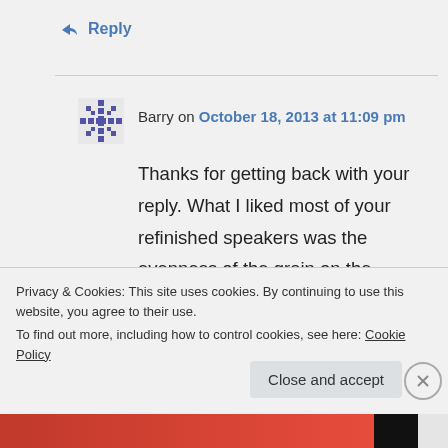↳ Reply
Barry on October 18, 2013 at 11:09 pm
[Figure (other): User avatar/gravatar icon — blue pixel pattern snowflake style]
Thanks for getting back with your reply. What I liked most of your refinished speakers was the evenness of the grain on the veneer. I would be using this veneer on the columns of speaker stands
Privacy & Cookies: This site uses cookies. By continuing to use this website, you agree to their use.
To find out more, including how to control cookies, see here: Cookie Policy
Close and accept